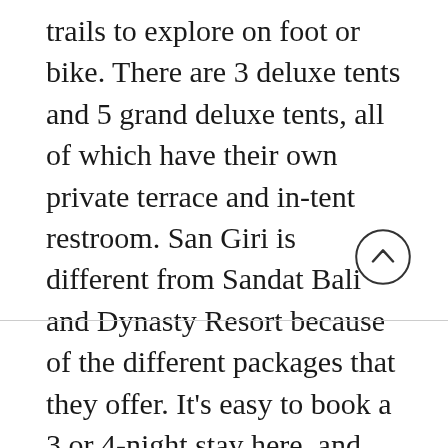trails to explore on foot or bike. There are 3 deluxe tents and 5 grand deluxe tents, all of which have their own private terrace and in-tent restroom. San Giri is different from Sandat Bali and Dynasty Resort because of the different packages that they offer. It’s easy to book a 3 or 4-night stay here, and you’ll even receive a bit of a discount on your accommodation